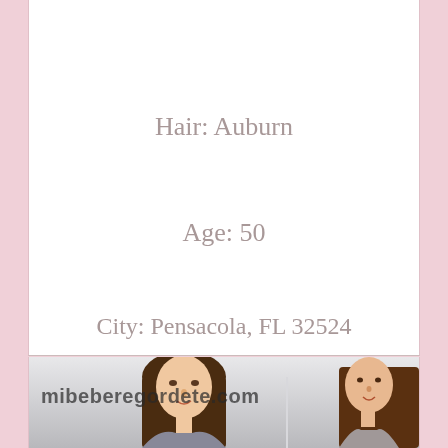Hair: Auburn
Age: 50
City: Pensacola, FL 32524
[Figure (photo): Photo of a woman with long brown hair, with watermark text 'mibeberegordete.com' overlaid]